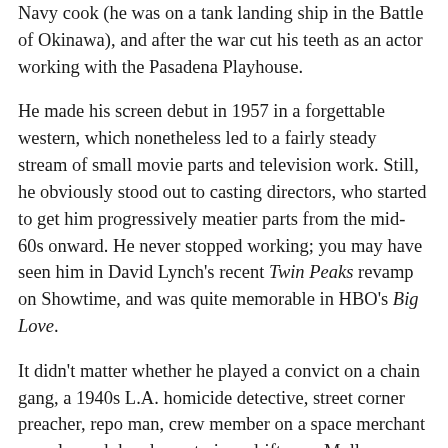Navy cook (he was on a tank landing ship in the Battle of Okinawa), and after the war cut his teeth as an actor working with the Pasadena Playhouse.
He made his screen debut in 1957 in a forgettable western, which nonetheless led to a fairly steady stream of small movie parts and television work. Still, he obviously stood out to casting directors, who started to get him progressively meatier parts from the mid-60s onward. He never stopped working; you may have seen him in David Lynch's recent Twin Peaks revamp on Showtime, and was quite memorable in HBO's Big Love.
It didn't matter whether he played a convict on a chain gang, a 1940s L.A. homicide detective, street corner preacher, repo man, crew member on a space merchant vessel, ranch hand, mysterious drifter, or Molly Ringwald's dad in a teen comedy… from the moment his character popped on screen, there was something all-too-familiar about him...